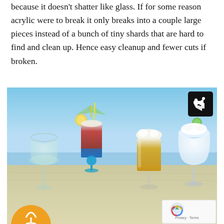because it doesn't shatter like glass. If for some reason acrylic were to break it only breaks into a couple large pieces instead of a bunch of tiny shards that are hard to find and clean up. Hence easy cleanup and fewer cuts if broken.
[Figure (photo): Four acrylic drinking glasses standing in beach sand with blue sky and ocean in background. Left to right: a stemmed wine glass with clear liquid, a tall tumbler with red and blue layered drink with lemon slice and umbrella garnish, a stemmed beer glass with golden beer and foam head, and a large stemmed goblet with white frozen drink and lime garnish. A black share button is in the top right corner. A reCAPTCHA widget is in the bottom right. An orange half-circle icon with wine glass is at the bottom left.]